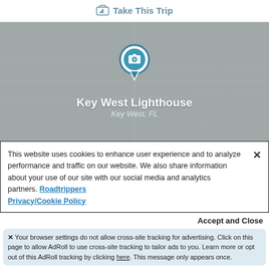Take This Trip
[Figure (map): Gray map background with a location pin icon showing a camera symbol, with text 'Key West Lighthouse' and 'Key West, FL' overlaid on the map.]
This website uses cookies to enhance user experience and to analyze performance and traffic on our website. We also share information about your use of our site with our social media and analytics partners. Roadtrippers Privacy/Cookie Policy
Accept and Close
Your browser settings do not allow cross-site tracking for advertising. Click on this page to allow AdRoll to use cross-site tracking to tailor ads to you. Learn more or opt out of this AdRoll tracking by clicking here. This message only appears once.